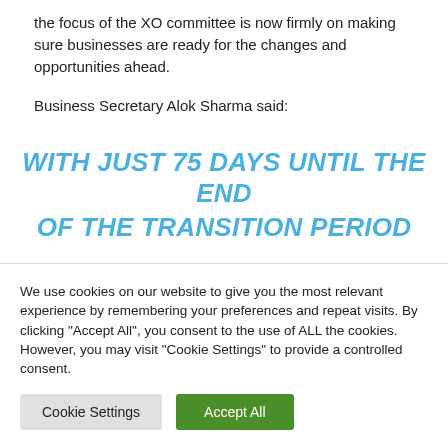the focus of the XO committee is now firmly on making sure businesses are ready for the changes and opportunities ahead.
Business Secretary Alok Sharma said:
WITH JUST 75 DAYS UNTIL THE END OF THE TRANSITION PERIOD
We use cookies on our website to give you the most relevant experience by remembering your preferences and repeat visits. By clicking "Accept All", you consent to the use of ALL the cookies. However, you may visit "Cookie Settings" to provide a controlled consent.